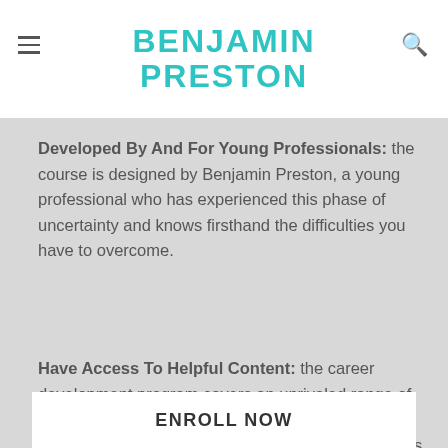BENJAMIN PRESTON
Developed By And For Young Professionals: the course is designed by Benjamin Preston, a young professional who has experienced this phase of uncertainty and knows firsthand the difficulties you have to overcome.
Have Access To Helpful Content: the career development program covers an unrivaled range of topics while integrating top talent development frameworks used by the most successful businesses to help you accelerate your career.
ENROLL NOW